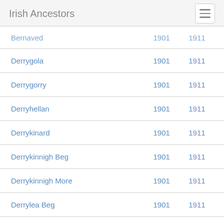Irish Ancestors
|  | 1901 | 1911 |
| --- | --- | --- |
| Bernaved | 1901 | 1911 |
| Derrygola | 1901 | 1911 |
| Derrygorry | 1901 | 1911 |
| Derryhellan | 1901 | 1911 |
| Derrykinard | 1901 | 1911 |
| Derrykinnigh Beg | 1901 | 1911 |
| Derrykinnigh More | 1901 | 1911 |
| Derrylea Beg | 1901 | 1911 |
| Derrylea More | 1901 | 1911 |